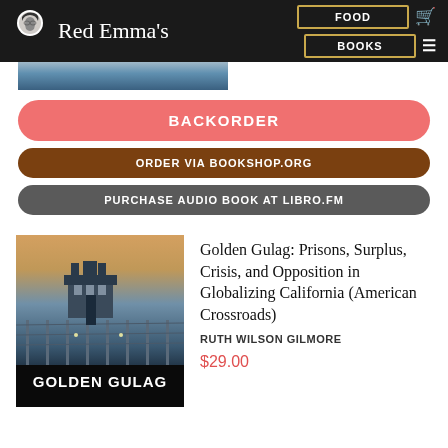Red Emma's | FOOD | BOOKS
[Figure (screenshot): Partial book cover image strip at top]
BACKORDER
ORDER VIA BOOKSHOP.ORG
PURCHASE AUDIO BOOK AT LIBRO.FM
[Figure (photo): Book cover of Golden Gulag showing a prison guard tower with barbed wire fence against a dusk sky, with bold text GOLDEN GULAG at the bottom]
Golden Gulag: Prisons, Surplus, Crisis, and Opposition in Globalizing California (American Crossroads)
RUTH WILSON GILMORE
$29.00